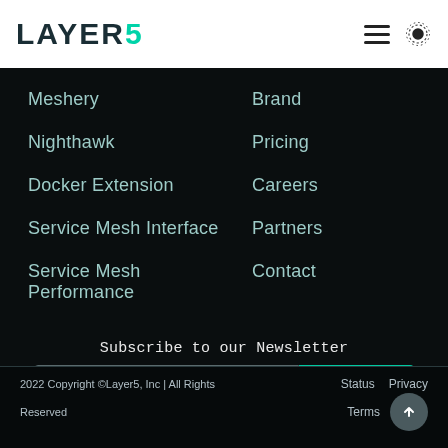LAYER5 — navigation header with hamburger menu and sun icon
Meshery
Nighthawk
Docker Extension
Service Mesh Interface
Service Mesh Performance
Brand
Pricing
Careers
Partners
Contact
Subscribe to our Newsletter
Email Address
Subscribe
2022 Copyright ©Layer5, Inc | All Rights Reserved   Status   Privacy   Terms